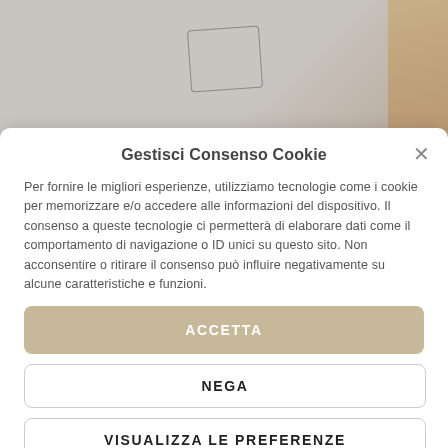[Figure (photo): Background photo showing a light gray surface with a rectangular outlined shape and a wooden element on the right side]
Gestisci Consenso Cookie
Per fornire le migliori esperienze, utilizziamo tecnologie come i cookie per memorizzare e/o accedere alle informazioni del dispositivo. Il consenso a queste tecnologie ci permetterà di elaborare dati come il comportamento di navigazione o ID unici su questo sito. Non acconsentire o ritirare il consenso può influire negativamente su alcune caratteristiche e funzioni.
ACCETTA
NEGA
VISUALIZZA LE PREFERENZE
Privacy Policy